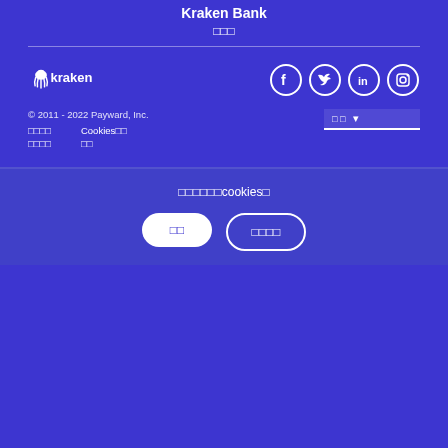Kraken Bank
□□□
[Figure (logo): Kraken logo with octopus icon and text 'kraken' in white on purple background]
[Figure (infographic): Social media icons: Facebook, Twitter, LinkedIn, Instagram in white circles on purple background]
© 2011 - 2022 Payward, Inc.
□□□□
□□□□
Cookies□□
□□
□ □
□□□□□□cookies□
□□
□□□□